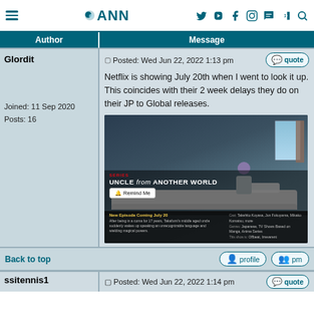ANN forum header with navigation icons
| Author | Message |
| --- | --- |
Glordit
Posted: Wed Jun 22, 2022 1:13 pm
Netflix is showing July 20th when I went to look it up. This coincides with their 2 week delays they do on their JP to Global releases.
[Figure (screenshot): Netflix screenshot showing 'Uncle from Another World' with a 'Remind Me' button and 'New Episode Coming July 20' text]
Joined: 11 Sep 2020
Posts: 16
Back to top
profile  pm
ssitennis1
Posted: Wed Jun 22, 2022 1:14 pm